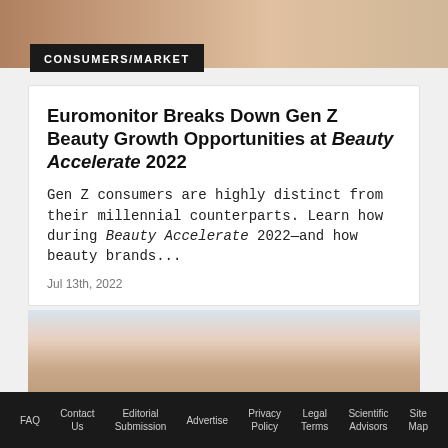[Figure (photo): Partial view of a woman's upper body/shoulder area, cropped at top of page]
CONSUMERS/MARKET
Euromonitor Breaks Down Gen Z Beauty Growth Opportunities at Beauty Accelerate 2022
Gen Z consumers are highly distinct from their millennial counterparts. Learn how during Beauty Accelerate 2022—and how beauty brands...
Jul 13th, 2022
[Figure (photo): Close-up portrait of a dark-haired woman with makeup, touching her face, on a light blue-white background]
FAQ   Contact Us   Editorial Submission   Advertise   Privacy Policy   Legal Terms   Scientific Advisors   Site Map